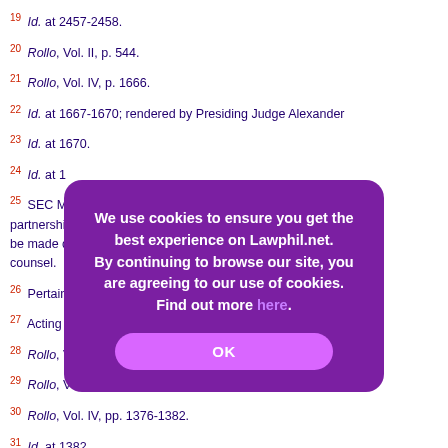19 Id. at 2457-2458.
20 Rollo, Vol. II, p. 544.
21 Rollo, Vol. IV, p. 1666.
22 Id. at 1667-1670; rendered by Presiding Judge Alexander
23 Id. at 1670.
24 Id. at 1...
25 SEC Memorandum Circular No. ... Private Juridica partnerships ... under the laws of the ... be made on the presiding managing partner, general ma... counsel.
26 Pertains to the 1997 Rules of Court then in force.
27 Acting Presiding Judge Maria Gilda Loja-Pangilinan.
28 Rollo, Vol. II, pp. 562-565.
29 Rollo, Vol. III, p. 1298, see Order dated 12 July 2016.
30 Rollo, Vol. IV, pp. 1376-1382.
31 Id. at 1382.